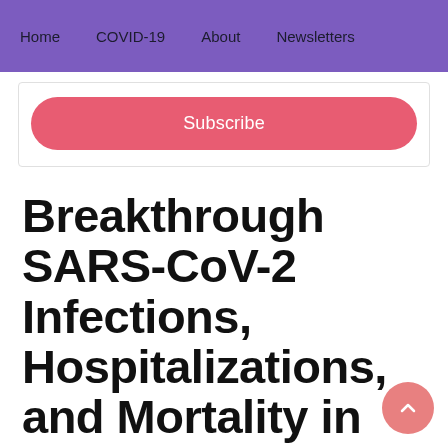Home   COVID-19   About   Newsletters
Subscribe
Breakthrough SARS-CoV-2 Infections, Hospitalizations, and Mortality in Vaccinated Patients With Cancer in the